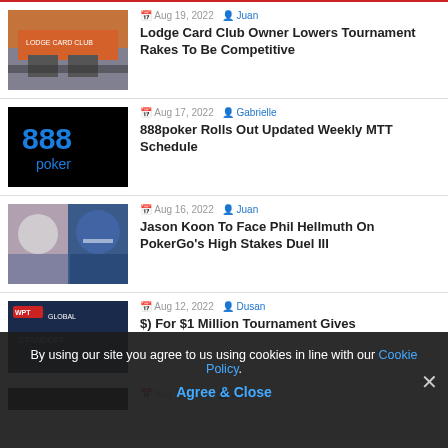[Figure (other): Red horizontal divider line]
Aug 19, 2022 | Juan | Lodge Card Club Owner Lowers Tournament Rakes To Be Competitive
Aug 17, 2022 | Gabrielle | 888poker Rolls Out Updated Weekly MTT Schedule
Aug 16, 2022 | Juan | Jason Koon To Face Phil Hellmuth On PokerGo's High Stakes Duel III
Aug 12, 2022 | Dusan | $) For $1 Million Tournament Gives (partial)
By using our site you agree to us using cookies in line with our Cookie Policy. Agree & Close
Aug 11, 2022 | Juan (partial row)